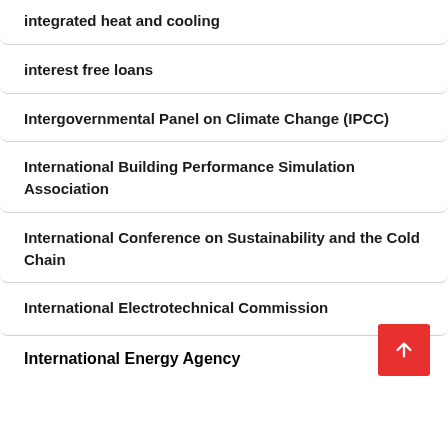integrated heat and cooling
interest free loans
Intergovernmental Panel on Climate Change (IPCC)
International Building Performance Simulation Association
International Conference on Sustainability and the Cold Chain
International Electrotechnical Commission
International Energy Agency